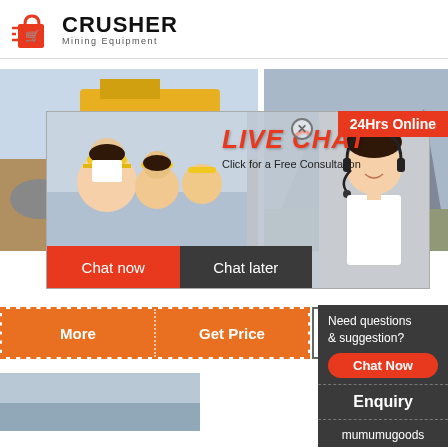[Figure (logo): Crusher Mining Equipment logo with red shopping bag icon with speed lines and bold CRUSHER text]
[Figure (photo): Website screenshot showing a mining equipment company page with a live chat overlay featuring workers in yellow hard hats and a headset customer service representative]
24Hrs Online
LIVE CHAT Click for a Free Consultation
Chat now
Chat later
More
Get Price
Email conta...
Need questions & suggestion?
Chat Now
Enquiry
mumumugoods@gmail.com